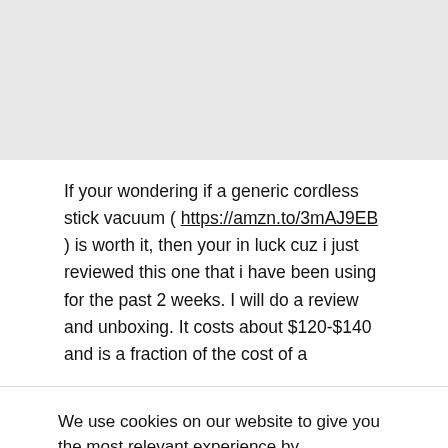[Figure (other): Gray background area at top of page, likely a video or image placeholder]
If your wondering if a generic cordless stick vacuum ( https://amzn.to/3mAJ9EB ) is worth it, then your in luck cuz i just reviewed this one that i have been using for the past 2 weeks. I will do a review and unboxing. It costs about $120-$140 and is a fraction of the cost of a
We use cookies on our website to give you the most relevant experience by remembering your preferences and repeat visits. By clicking "Accept", you consent to the use of ALL the cookies. Do not sell my personal information.